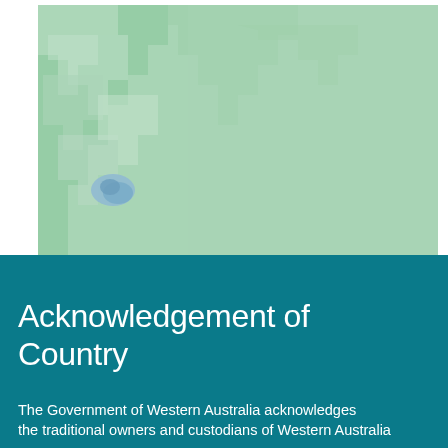[Figure (map): A Leaflet map showing part of Western Australia with green land regions and a small blue lake/water body feature in the lower left area. The map background is a light green color with lighter green polygonal boundary regions.]
Acknowledgement of Country
The Government of Western Australia acknowledges the traditional owners and custodians of Western Australia